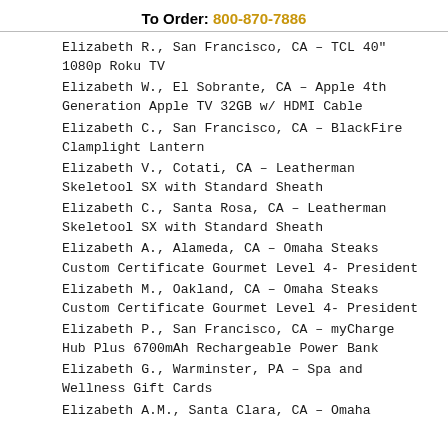To Order: 800-870-7886
Elizabeth R., San Francisco, CA – TCL 40" 1080p Roku TV
Elizabeth W., El Sobrante, CA – Apple 4th Generation Apple TV 32GB w/ HDMI Cable
Elizabeth C., San Francisco, CA – BlackFire Clamplight Lantern
Elizabeth V., Cotati, CA – Leatherman Skeletool SX with Standard Sheath
Elizabeth C., Santa Rosa, CA – Leatherman Skeletool SX with Standard Sheath
Elizabeth A., Alameda, CA – Omaha Steaks Custom Certificate Gourmet Level 4- President
Elizabeth M., Oakland, CA – Omaha Steaks Custom Certificate Gourmet Level 4- President
Elizabeth P., San Francisco, CA – myCharge Hub Plus 6700mAh Rechargeable Power Bank
Elizabeth G., Warminster, PA – Spa and Wellness Gift Cards
Elizabeth A.M., Santa Clara, CA – Omaha Steaks Custom...